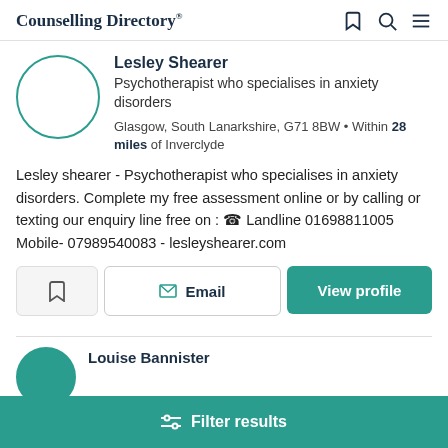Counselling Directory
Lesley Shearer
Psychotherapist who specialises in anxiety disorders
Glasgow, South Lanarkshire, G71 8BW • Within 28 miles of Inverclyde
Lesley shearer - Psychotherapist who specialises in anxiety disorders. Complete my free assessment online or by calling or texting our enquiry line free on : ☎ Landline 01698811005 Mobile- 07989540083 - lesleyshearer.com
Louise Bannister
Filter results